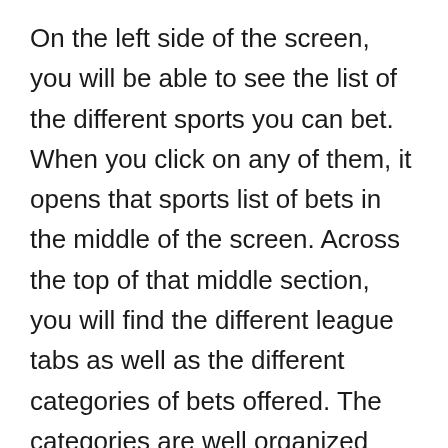On the left side of the screen, you will be able to see the list of the different sports you can bet. When you click on any of them, it opens that sports list of bets in the middle of the screen. Across the top of that middle section, you will find the different league tabs as well as the different categories of bets offered. The categories are well organized from straight, future, and prop bets across the screen.
After you decide what you want to wager on, FanDuel makes it easy to pick the type of bet you want to place for that wager. You can create multiple bets at